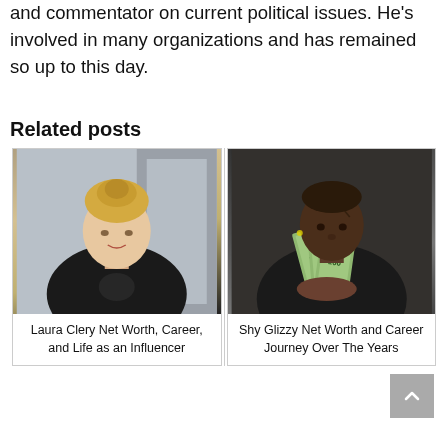and commentator on current political issues. He's involved in many organizations and has remained so up to this day.
Related posts
[Figure (photo): Photo of Laura Clery, a blonde woman wearing a black top with hair in an updo, smiling at camera]
Laura Clery Net Worth, Career, and Life as an Influencer
[Figure (photo): Photo of Shy Glizzy, a young Black man in dark clothing holding a fan of dollar bills]
Shy Glizzy Net Worth and Career Journey Over The Years